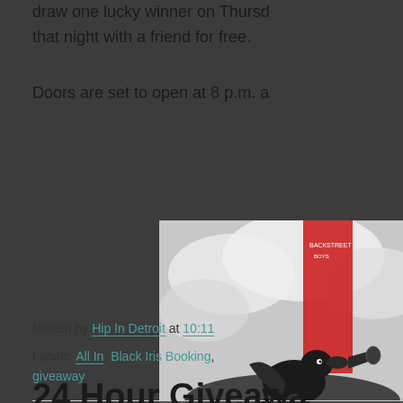draw one lucky winner on Thursday that night with a friend for free.
Doors are set to open at 8 p.m. a
[Figure (illustration): Album artwork showing a bird with a trumpet against a cloudy background with a red ribbon/banner]
Posted by Hip In Detroit at 10:11
Labels: All In, Black Iris Booking, giveaway
24 Hour Giveaway